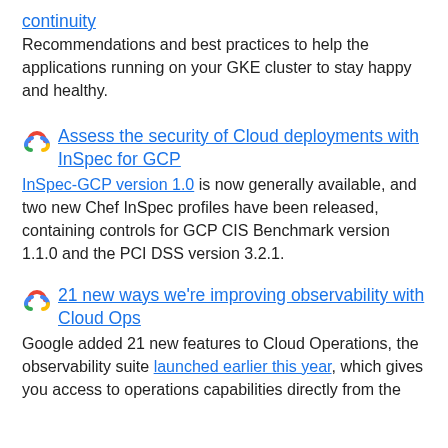continuity
Recommendations and best practices to help the applications running on your GKE cluster to stay happy and healthy.
Assess the security of Cloud deployments with InSpec for GCP
InSpec-GCP version 1.0 is now generally available, and two new Chef InSpec profiles have been released, containing controls for GCP CIS Benchmark version 1.1.0 and the PCI DSS version 3.2.1.
21 new ways we're improving observability with Cloud Ops
Google added 21 new features to Cloud Operations, the observability suite launched earlier this year, which gives you access to operations capabilities directly from the